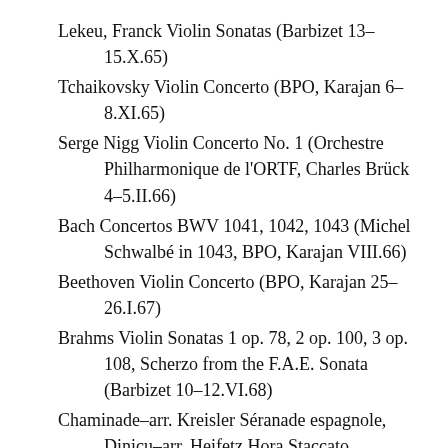Lekeu, Franck Violin Sonatas (Barbizet 13–15.X.65)
Tchaikovsky Violin Concerto (BPO, Karajan 6–8.XI.65)
Serge Nigg Violin Concerto No. 1 (Orchestre Philharmonique de l'ORTF, Charles Brück 4–5.II.66)
Bach Concertos BWV 1041, 1042, 1043 (Michel Schwalbé in 1043, BPO, Karajan VIII.66)
Beethoven Violin Concerto (BPO, Karajan 25–26.I.67)
Brahms Violin Sonatas 1 op. 78, 2 op. 100, 3 op. 108, Scherzo from the F.A.E. Sonata (Barbizet 10–12.VI.68)
Chaminade–arr. Kreisler Séranade espagnole, Dinicu–arr. Heifetz Hora Staccato, Dvorak–